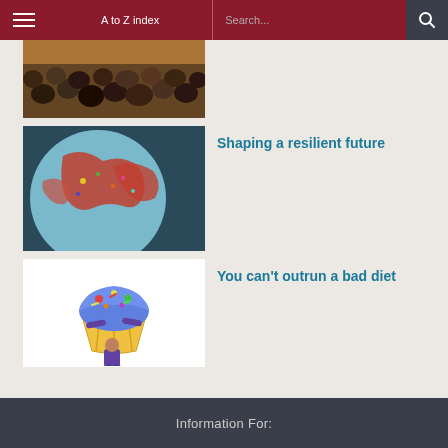A to Z index | Search...
[Figure (photo): Audience of students viewed from behind in a lecture hall]
[Figure (photo): Close-up of a colorful painted globe]
Shaping a resilient future
[Figure (illustration): Cartoon illustration of a person carrying an oversized cupcake]
You can't outrun a bad diet
Information For: